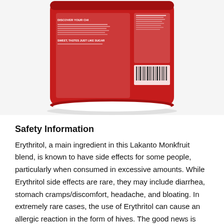[Figure (photo): Back of a red Lakanto Monkfruit sweetener bag showing nutrition facts, ingredients, barcode, and product description text on a red decorative background with cloud patterns.]
Safety Information
Erythritol, a main ingredient in this Lakanto Monkfruit blend, is known to have side effects for some people, particularly when consumed in excessive amounts. While Erythritol side effects are rare, they may include diarrhea, stomach cramps/discomfort, headache, and bloating. In extremely rare cases, the use of Erythritol can cause an allergic reaction in the form of hives. The good news is that the use of Monk Fruit in this product significantly reduces the quantity of